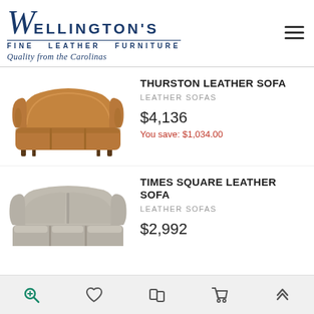[Figure (logo): Wellington's Fine Leather Furniture logo with tagline 'Quality from the Carolinas']
THURSTON LEATHER SOFA
LEATHER SOFAS
$4,136
You save: $1,034.00
[Figure (photo): Tan/caramel leather sofa - Thurston model]
TIMES SQUARE LEATHER SOFA
LEATHER SOFAS
$2,992
[Figure (photo): Grey/beige leather sofa - Times Square model, partially cropped]
Search | Wishlist | Compare | Cart | Back to top